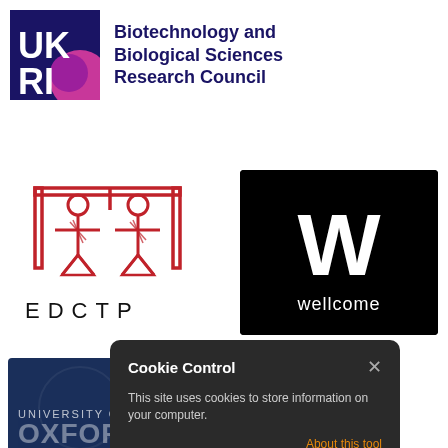[Figure (logo): UKRI - Biotechnology and Biological Sciences Research Council logo with dark blue UKRI text on navy background with pink/purple circles, and bold navy text name to the right]
[Figure (logo): EDCTP logo showing stylized red figures under an arch with text EDCTP below]
[Figure (logo): Wellcome Trust logo: white W letterform and 'wellcome' text on black background]
[Figure (logo): University of Oxford logo on dark navy background with university seal watermark]
[Figure (screenshot): Cookie Control popup overlay: dark grey rounded rectangle with title 'Cookie Control', close X button, body text 'This site uses cookies to store information on your computer.', orange 'About this tool' link, and grey 'read more' text]